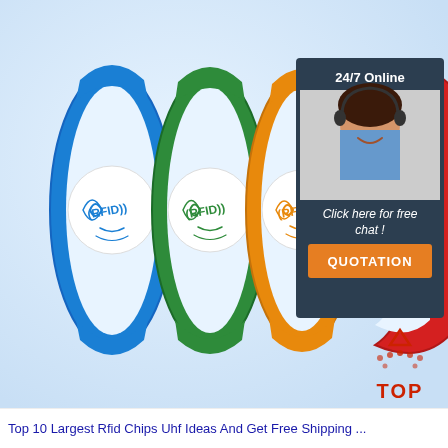[Figure (photo): Product photo showing four RFID silicone wristbands in blue, green, orange, and red colors, each with a white circular RFID chip disc. Overlaid with a customer service chat widget showing a female agent with headset, labeled '24/7 Online' and 'Click here for free chat!' with an orange QUOTATION button. A red 'TOP' logo is in the bottom-right corner.]
Top 10 Largest Rfid Chips Uhf Ideas And Get Free Shipping ...